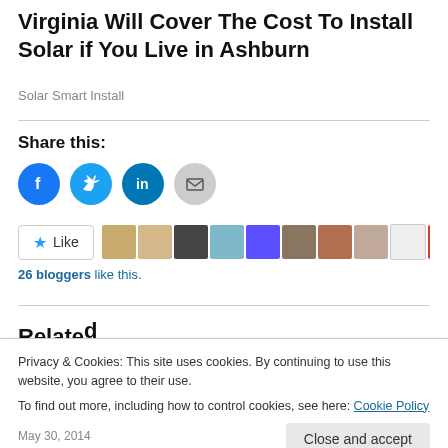Virginia Will Cover The Cost To Install Solar if You Live in Ashburn
Solar Smart Install
Share this:
[Figure (infographic): Social share icons: Facebook (blue circle), Twitter (cyan circle), LinkedIn (blue circle), Email (gray circle)]
[Figure (infographic): Like button with star icon and row of blogger avatars. 26 bloggers like this.]
Privacy & Cookies: This site uses cookies. By continuing to use this website, you agree to their use. To find out more, including how to control cookies, see here: Cookie Policy
Close and accept
May 30, 2014